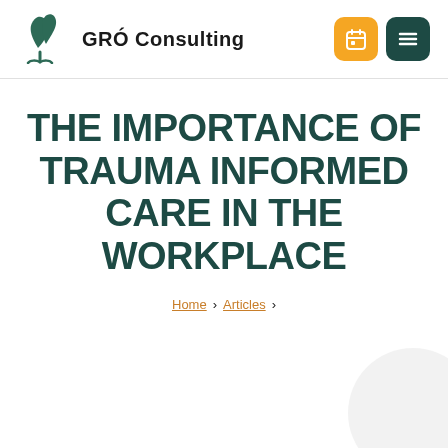GRÓ Consulting
THE IMPORTANCE OF TRAUMA INFORMED CARE IN THE WORKPLACE
Home › Articles ›